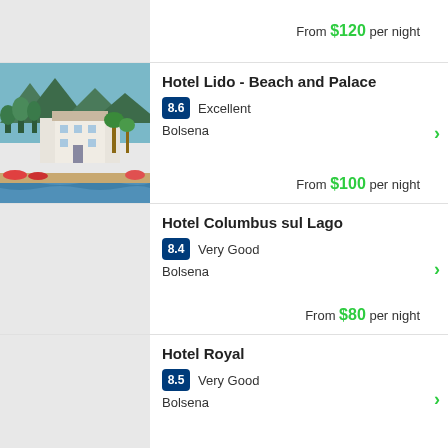From $120 per night
Hotel Lido - Beach and Palace
8.6 Excellent
Bolsena
From $100 per night
Hotel Columbus sul Lago
8.4 Very Good
Bolsena
From $80 per night
Hotel Royal
8.5 Very Good
Bolsena